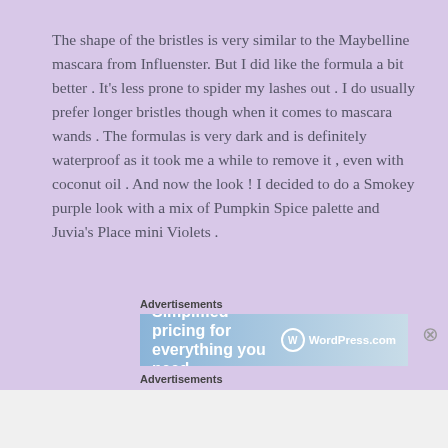The shape of the bristles is very similar to the Maybelline mascara from Influenster. But I did like the formula a bit better . It’s less prone to spider my lashes out . I do usually prefer longer bristles though when it comes to mascara wands . The formulas is very dark and is definitely waterproof as it took me a while to remove it , even with coconut oil . And now the look ! I decided to do a Smokey purple look with a mix of Pumpkin Spice palette and Juvia’s Place mini Violets .
Advertisements
[Figure (screenshot): Advertisement banner for WordPress.com showing 'Simplified pricing for everything you need' text with WordPress.com logo]
Advertisements